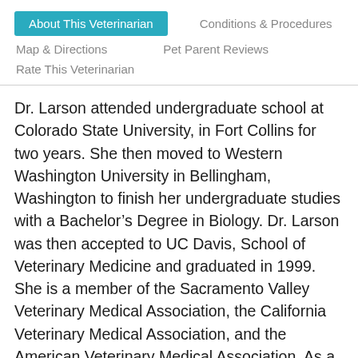About This Veterinarian | Conditions & Procedures | Map & Directions | Pet Parent Reviews | Rate This Veterinarian
Dr. Larson attended undergraduate school at Colorado State University, in Fort Collins for two years. She then moved to Western Washington University in Bellingham, Washington to finish her undergraduate studies with a Bachelor’s Degree in Biology. Dr. Larson was then accepted to UC Davis, School of Veterinary Medicine and graduated in 1999. She is a member of the Sacramento Valley Veterinary Medical Association, the California Veterinary Medical Association, and the American Veterinary Medical Association. As a small animal general practitioner, Dr. Larson is passionate about soft tissue surgery and enjoys nothing more than a long day in the operating room. She also has a knack for dental extractions and loves the feeling of knowing that she is helping improve a pet’s health by treating infection in the